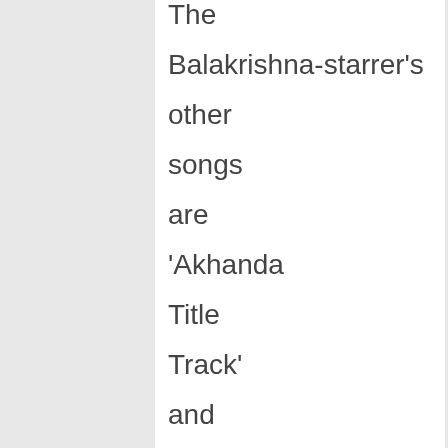The Balakrishna-starrer's other songs are 'Akhanda Title Track' and 'Jai Balayya'. Dispersed by Pen Studios, the film's songs have been released